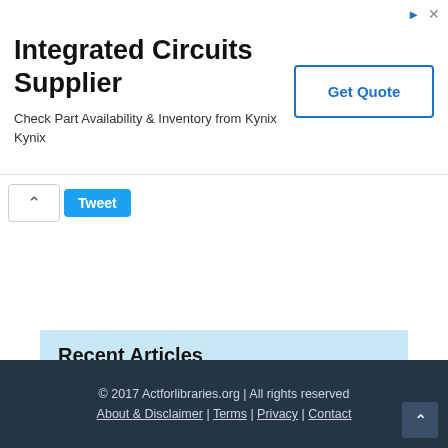[Figure (screenshot): Advertisement banner for Integrated Circuits Supplier - Kynix, with Get Quote button]
[Figure (screenshot): Tweet/share bar with up arrow and Tweet button]
Recent Articles
Understanding Evaporation
An Introduction to Freuds Personality Theory
© 2017 Actforlibraries.org | All rights reserved
About & Disclaimer | Terms | Privacy | Contact